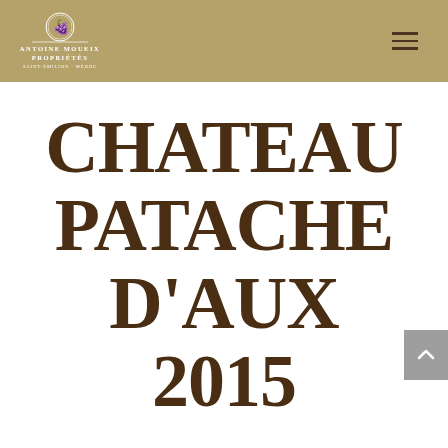[Figure (logo): Antoine Moueix Propriétés logo with decorative emblem and text, Saint-Émilion Médoc, on golden-tan header background]
CHATEAU PATACHE D'AUX 2015